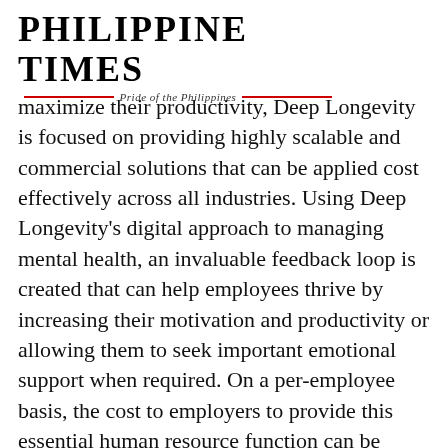PHILIPPINE TIMES
Pride of the Philippines
maximize their productivity, Deep Longevity is focused on providing highly scalable and commercial solutions that can be applied cost effectively across all industries. Using Deep Longevity's digital approach to managing mental health, an invaluable feedback loop is created that can help employees thrive by increasing their motivation and productivity or allowing them to seek important emotional support when required. On a per-employee basis, the cost to employers to provide this essential human resource function can be minimal. Ongoing discussions with large insurance companies and other multinational corporations suggest that the commercial opportunity for Deep Longevity (through Futurself and other applications) is immense and